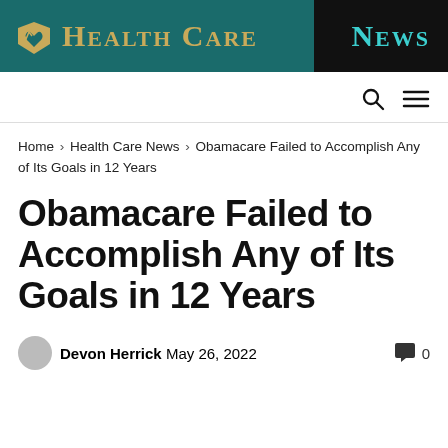[Figure (logo): Health Care News logo banner with teal/dark background, gold heart icon, gold 'Health Care' text and teal 'News' text]
Home › Health Care News › Obamacare Failed to Accomplish Any of Its Goals in 12 Years
Obamacare Failed to Accomplish Any of Its Goals in 12 Years
Devon Herrick  May 26, 2022  0